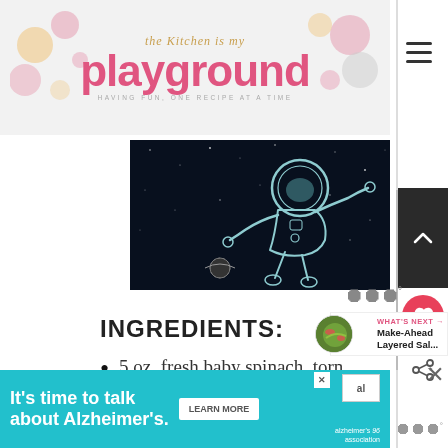the Kitchen is my playground — HAVING FUN, ONE RECIPE AT A TIME
[Figure (illustration): Astronaut floating in space illustration on dark background, with a small moon/planet below]
INGREDIENTS:
5 oz. fresh baby spinach, torn
[Figure (infographic): What's Next panel: Make-Ahead Layered Sal... with a circular thumbnail of a salad dish]
[Figure (screenshot): Advertisement banner: It's time to talk about Alzheimer's. LEARN MORE. Alzheimer's association logo. Close button X.]